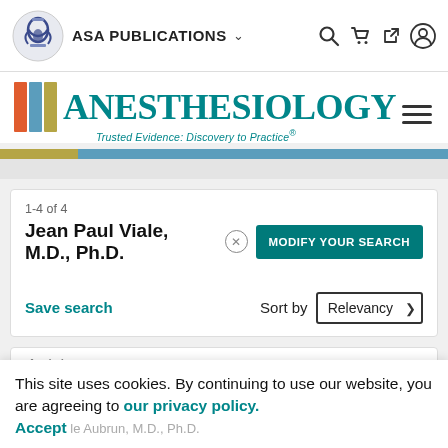ASA PUBLICATIONS
[Figure (logo): Anesthesiology journal logo with colored bars and teal journal name text and tagline 'Trusted Evidence: Discovery to Practice']
1-4 of 4
Jean Paul Viale, M.D., Ph.D.
MODIFY YOUR SEARCH
Save search
Sort by Relevancy
Articles
This site uses cookies. By continuing to use our website, you are agreeing to our privacy policy. Accept